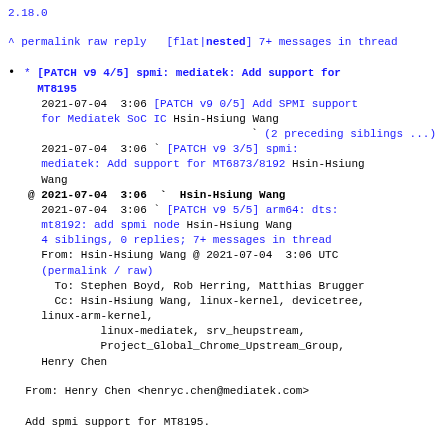2.18.0
^ permalink raw reply   [flat|nested] 7+ messages in thread
* [PATCH v9 4/5] spmi: mediatek: Add support for MT8195
2021-07-04  3:06 [PATCH v9 0/5] Add SPMI support for Mediatek SoC IC Hsin-Hsiung Wang
` (2 preceding siblings ...)
2021-07-04  3:06 ` [PATCH v9 3/5] spmi: mediatek: Add support for MT6873/8192 Hsin-Hsiung Wang
@ 2021-07-04  3:06 ` Hsin-Hsiung Wang
2021-07-04  3:06 ` [PATCH v9 5/5] arm64: dts: mt8192: add spmi node Hsin-Hsiung Wang
4 siblings, 0 replies; 7+ messages in thread
From: Hsin-Hsiung Wang @ 2021-07-04  3:06 UTC
(permalink / raw)
To: Stephen Boyd, Rob Herring, Matthias Brugger
Cc: Hsin-Hsiung Wang, linux-kernel, devicetree, linux-arm-kernel,
        linux-mediatek, srv_heupstream,
        Project_Global_Chrome_Upstream_Group,
Henry Chen
From: Henry Chen <henryc.chen@mediatek.com>
Add spmi support for MT8195.